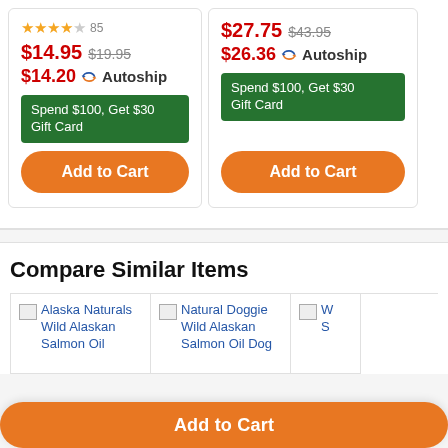$14.95 $19.95
$14.20 Autoship
Spend $100, Get $30 Gift Card
Add to Cart
$27.75 $43.95
$26.36 Autoship
Spend $100, Get $30 Gift Card
Add to Cart
Compare Similar Items
Alaska Naturals Wild Alaskan Salmon Oil
Natural Doggie Wild Alaskan Salmon Oil Dog
Add to Cart